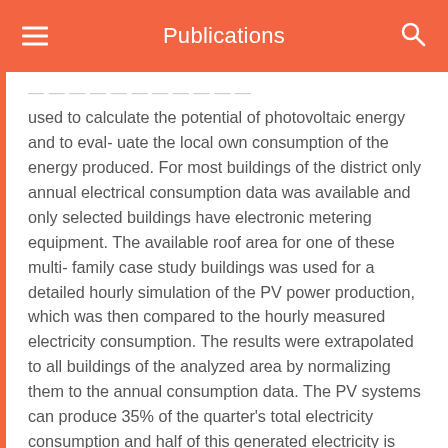Publications
used to calculate the potential of photovoltaic energy and to eval- uate the local own consumption of the energy produced. For most buildings of the district only annual electrical consumption data was available and only selected buildings have electronic metering equipment. The available roof area for one of these multi- family case study buildings was used for a detailed hourly simulation of the PV power production, which was then compared to the hourly measured electricity consumption. The results were extrapolated to all buildings of the analyzed area by normalizing them to the annual consumption data. The PV systems can produce 35% of the quarter's total electricity consumption and half of this generated electricity is directly used within the buildings.